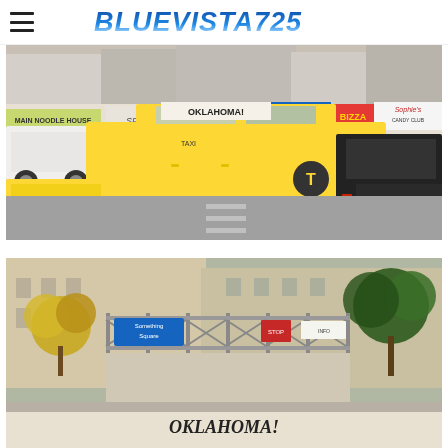BLUEVISTA725
[Figure (photo): New York City street scene with yellow taxi cabs (including a Toyota Sienna minivan taxi with Oklahoma! advertisement on roof), a black pickup truck, storefronts including Main Noodle House, Spektrum, Crispy Chicken & Fish Sandwiches, Bizza, Sophie's Candy Club, and other shops visible in background]
[Figure (photo): New York City street scene showing scaffolding outside a building, street signs including a blue subway/bus sign, trees with autumn foliage, and partial view of buildings. An Oklahoma! advertisement is partially visible at bottom.]